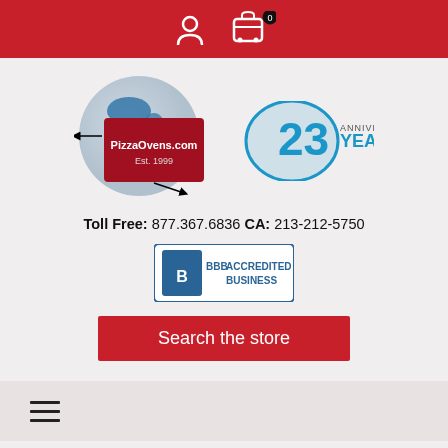PizzaOvens.com website header with user and cart icons
[Figure (logo): PizzaOvens.com logo with globe and 23 Anniversary Years badge]
Toll Free: 877.367.6836 CA: 213-212-5750
[Figure (logo): BBB Accredited Business badge]
Search the store
[Figure (infographic): Hamburger menu icon]
The purchase of an industrial oven is a big investment for a food service business. These high-quality appliances should be reliable and serve us long years. PizzaOvens.com believes that if any issue with your